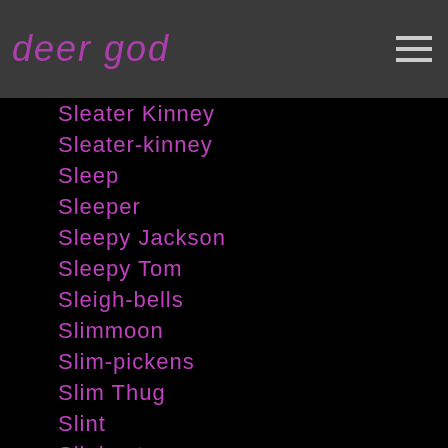deer god
Sleater Kinney
Sleater-kinney
Sleep
Sleeper
Sleepy Jackson
Sleepy Tom
Sleigh-bells
Slimmoon
Slim-pickens
Slim Thug
Slint
Slipknot
Slits
Slowdive
Sludge Metal
Slut-magic
Sly-robbie